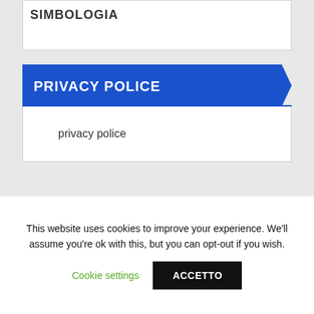SIMBOLOGIA
PRIVACY POLICE
privacy police
This website uses cookies to improve your experience. We'll assume you're ok with this, but you can opt-out if you wish.
Cookie settings
ACCETTO